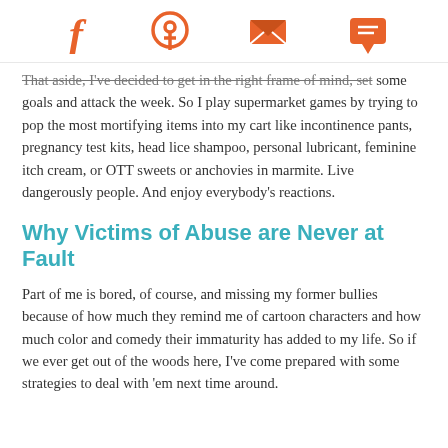Social share icons: Facebook, Pinterest, Email, Message
That aside, I've decided to get in the right frame of mind, set some goals and attack the week. So I play supermarket games by trying to pop the most mortifying items into my cart like incontinence pants, pregnancy test kits, head lice shampoo, personal lubricant, feminine itch cream, or OTT sweets or anchovies in marmite. Live dangerously people. And enjoy everybody's reactions.
Why Victims of Abuse are Never at Fault
Part of me is bored, of course, and missing my former bullies because of how much they remind me of cartoon characters and how much color and comedy their immaturity has added to my life. So if we ever get out of the woods here, I've come prepared with some strategies to deal with 'em next time around.